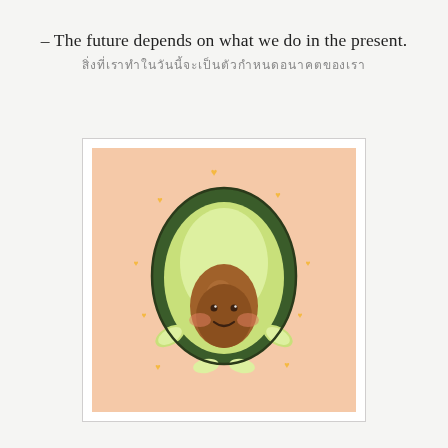– The future depends on what we do in the present.
[Thai script line]
[Figure (illustration): Cute kawaii cartoon avocado character with a smiley face, rosy cheeks, small arms and feet, brown pit in center, surrounded by small yellow heart shapes, on a peach/salmon background, framed in white with thin border.]